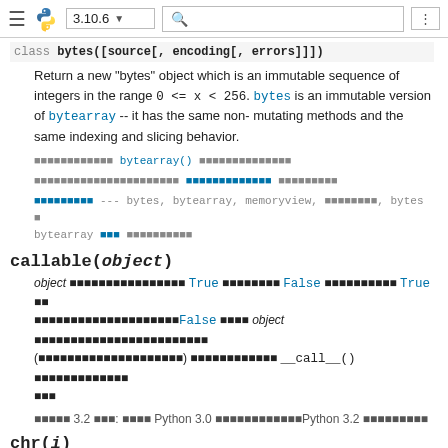≡ [Python logo] 3.10.6 ▼ [search] [grid]
class bytes([source[, encoding[, errors]]])
Return a new "bytes" object which is an immutable sequence of integers in the range 0 <= x < 256. bytes is an immutable version of bytearray -- it has the same non-mutating methods and the same indexing and slicing behavior.
[Japanese text] bytearray() [Japanese text]
[Japanese text] [Japanese text] [Japanese text]
[Japanese text] --- bytes, bytearray, memoryview, [Japanese text], bytes と bytearray [Japanese text]
callable(object)
object [Japanese text] True [Japanese text] False [Japanese text] True [Japanese text] False [Japanese text] object [Japanese text] ([Japanese text]) [Japanese text] __call__() [Japanese text]
[Japanese text] 3.2 [Japanese text]: [Japanese text] Python 3.0 [Japanese text] Python 3.2 [Japanese text]
chr(i)